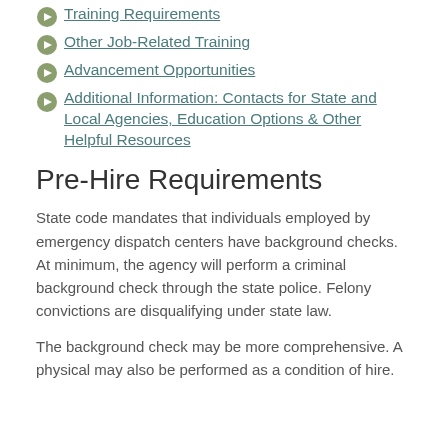Training Requirements
Other Job-Related Training
Advancement Opportunities
Additional Information: Contacts for State and Local Agencies, Education Options & Other Helpful Resources
Pre-Hire Requirements
State code mandates that individuals employed by emergency dispatch centers have background checks. At minimum, the agency will perform a criminal background check through the state police. Felony convictions are disqualifying under state law.
The background check may be more comprehensive. A physical may also be performed as a condition of hire.